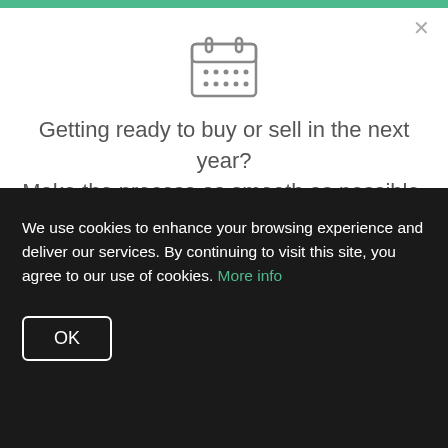[Figure (illustration): Calendar icon with a grid of dots representing days]
Getting ready to buy or sell in the next year? Make the process as smooth as possible.
Our Tips >
harmful computer code, files or programs.
Files you download from us are not guaranteed as
We use cookies to enhance your browsing experience and deliver our services. By continuing to visit this site, you agree to our use of cookies. More info
OK